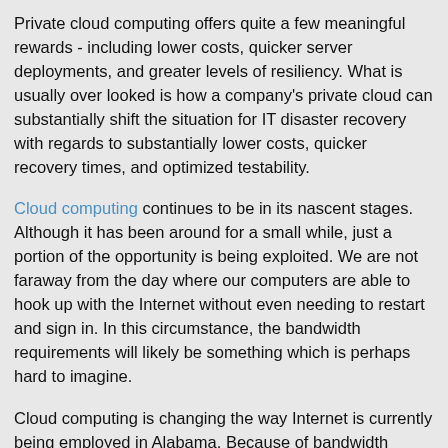Private cloud computing offers quite a few meaningful rewards - including lower costs, quicker server deployments, and greater levels of resiliency. What is usually over looked is how a company's private cloud can substantially shift the situation for IT disaster recovery with regards to substantially lower costs, quicker recovery times, and optimized testability.
Cloud computing continues to be in its nascent stages. Although it has been around for a small while, just a portion of the opportunity is being exploited. We are not faraway from the day where our computers are able to hook up with the Internet without even needing to restart and sign in. In this circumstance, the bandwidth requirements will likely be something which is perhaps hard to imagine.
Cloud computing is changing the way Internet is currently being employed in Alabama. Because of bandwidth features becoming affordable and highly effective, the opportunities of the World Wide Web opening up to new levels is amazing and infinite.
It is astonishing to observe the methods that solutions have evolved over the years and to think about the innovation bandwidth requirements will bring is most incredible.